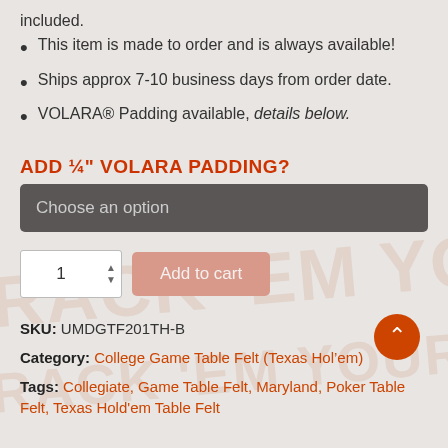included.
This item is made to order and is always available!
Ships approx 7-10 business days from order date.
VOLARA® Padding available, details below.
ADD ¼" VOLARA PADDING?
Choose an option
1
Add to cart
SKU: UMDGTF201TH-B
Category: College Game Table Felt (Texas Hold'em)
Tags: Collegiate, Game Table Felt, Maryland, Poker Table Felt, Texas Hold'em Table Felt